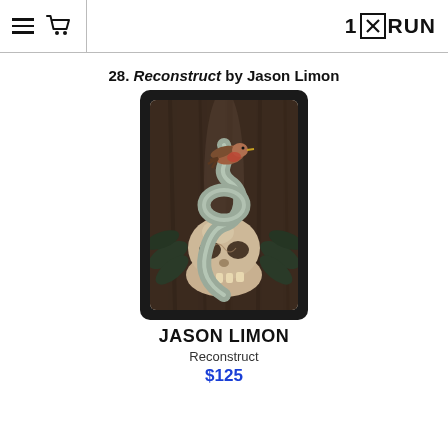1×RUN (navigation header with hamburger menu, cart icon, and logo)
28. Reconstruct by Jason Limon
[Figure (illustration): Framed art print showing a dark surrealist illustration: a small brown bird perched atop a coiled metallic snake, which wraps around a decorative human skull surrounded by dark leaves, set against a dark wooden textured background. The image is displayed in a thick black frame with white matting.]
JASON LIMON
Reconstruct
$125